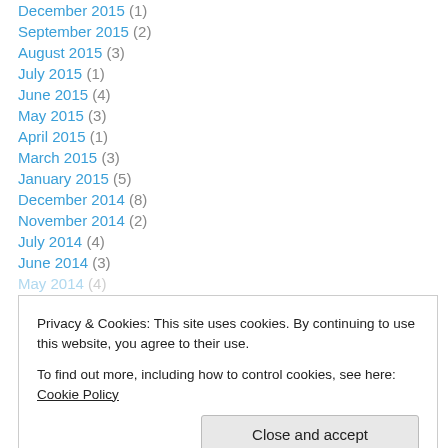December 2015 (1)
September 2015 (2)
August 2015 (3)
July 2015 (1)
June 2015 (4)
May 2015 (3)
April 2015 (1)
March 2015 (3)
January 2015 (5)
December 2014 (8)
November 2014 (2)
July 2014 (4)
June 2014 (3)
May 2014 (4)
Privacy & Cookies: This site uses cookies. By continuing to use this website, you agree to their use.
To find out more, including how to control cookies, see here: Cookie Policy
November 2013 (13)